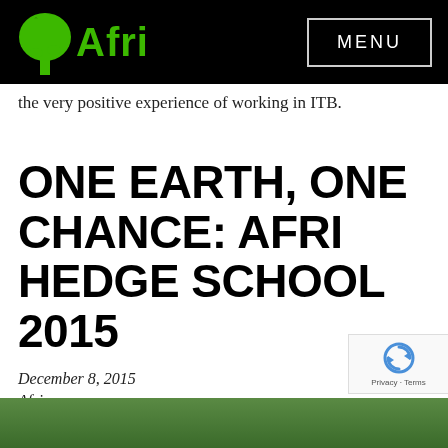Afri — MENU
the very positive experience of working in ITB.
ONE EARTH, ONE CHANCE: AFRI HEDGE SCHOOL 2015
December 8, 2015
Afri
[Figure (photo): Green outdoor scene at the bottom of the page, partially visible]